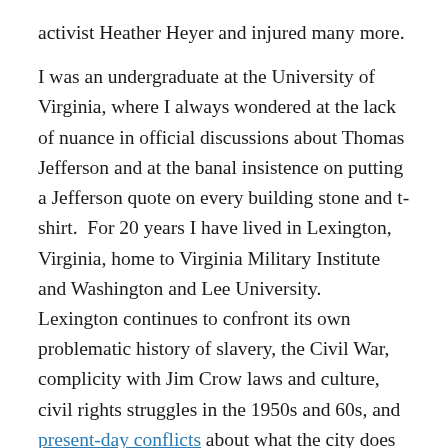activist Heather Heyer and injured many more.

I was an undergraduate at the University of Virginia, where I always wondered at the lack of nuance in official discussions about Thomas Jefferson and at the banal insistence on putting a Jefferson quote on every building stone and t-shirt.  For 20 years I have lived in Lexington, Virginia, home to Virginia Military Institute and Washington and Lee University.  Lexington continues to confront its own problematic history of slavery, the Civil War, complicity with Jim Crow laws and culture, civil rights struggles in the 1950s and 60s, and present-day conflicts about what the city does or can represent.  This week there has been discussion here among knowledgeable and generous people of generating a “Lexington Syllabus” to make more